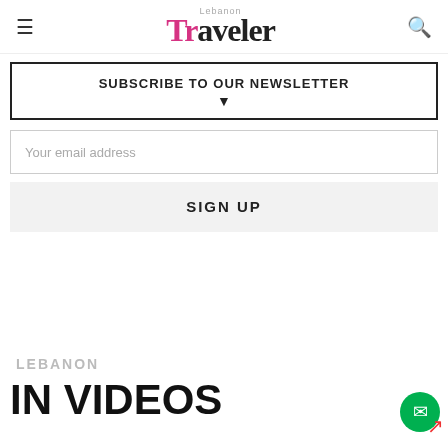Lebanon Traveler
SUBSCRIBE TO OUR NEWSLETTER
Your email address
SIGN UP
LEBANON
IN VIDEOS